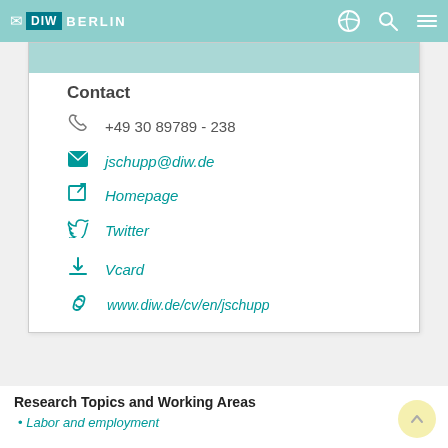DIW BERLIN
Contact
+49 30 89789 - 238
jschupp@diw.de
Homepage
Twitter
Vcard
www.diw.de/cv/en/jschupp
Research Topics and Working Areas
Labor and employment